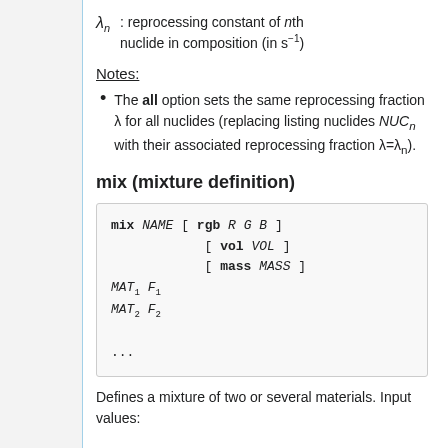λn : reprocessing constant of nth nuclide in composition (in s⁻¹)
Notes:
The all option sets the same reprocessing fraction λ for all nuclides (replacing listing nuclides NUCn with their associated reprocessing fraction λ=λn).
mix (mixture definition)
mix NAME [ rgb R G B ]
           [ vol VOL ]
           [ mass MASS ]
MAT1 F1
MAT2 F2
...
Defines a mixture of two or several materials. Input values: